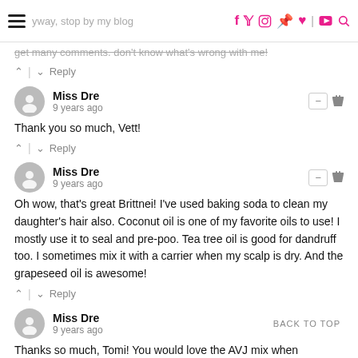yway, stop by my blog sometime! miss you :) | don't get many comments. don't know what's wrong with me!
^ | v  Reply
Miss Dre
9 years ago
Thank you so much, Vett!
^ | v  Reply
Miss Dre
9 years ago
Oh wow, that's great Brittnei! I've used baking soda to clean my daughter's hair also. Coconut oil is one of my favorite oils to use! I mostly use it to seal and pre-poo. Tea tree oil is good for dandruff too. I sometimes mix it with a carrier when my scalp is dry. And the grapeseed oil is awesome!
^ | v  Reply
Miss Dre
9 years ago
BACK TO TOP
Thanks so much, Tomi! You would love the AVJ mix when